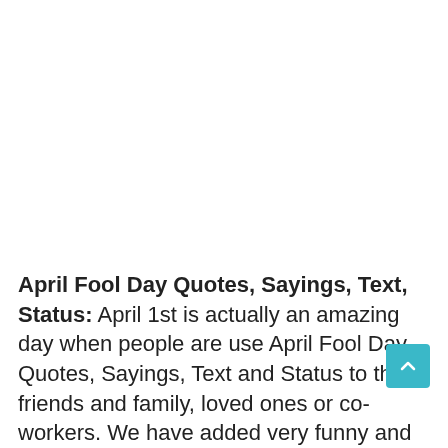April Fool Day Quotes, Sayings, Text, Status: April 1st is actually an amazing day when people are use April Fool Day Quotes, Sayings, Text and Status to their friends and family, loved ones or co-workers. We have added very funny and best April fool day quotes and status which is generally utilized to send some types of unreliable April Fool Quotes and Status to someone. Consequently an individual starts to assume this